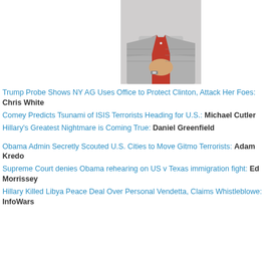[Figure (photo): Partial photo of a person in a red polo shirt and grey plaid blazer, hands clasped, wristwatch visible]
Trump Probe Shows NY AG Uses Office to Protect Clinton, Attack Her Foes: Chris White
Comey Predicts Tsunami of ISIS Terrorists Heading for U.S.: Michael Cutler
Hillary's Greatest Nightmare is Coming True: Daniel Greenfield
Obama Admin Secretly Scouted U.S. Cities to Move Gitmo Terrorists: Adam Kredo
Supreme Court denies Obama rehearing on US v Texas immigration fight: Ed Morrissey
Hillary Killed Libya Peace Deal Over Personal Vendetta, Claims Whistleblowe: InfoWars